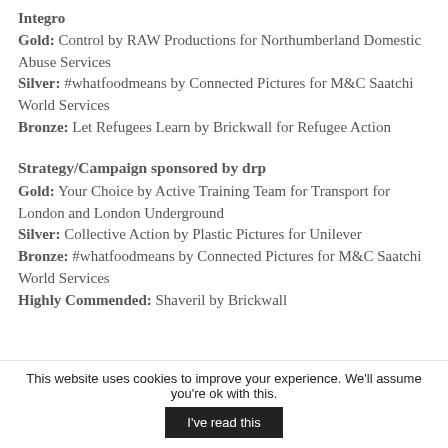Social Welfare (Screen) sponsored by Integro
Gold: Control by RAW Productions for Northumberland Domestic Abuse Services
Silver: #whatfoodmeans by Connected Pictures for M&C Saatchi World Services
Bronze: Let Refugees Learn by Brickwall for Refugee Action
Strategy/Campaign sponsored by drp
Gold: Your Choice by Active Training Team for Transport for London and London Underground
Silver: Collective Action by Plastic Pictures for Unilever
Bronze: #whatfoodmeans by Connected Pictures for M&C Saatchi World Services
Highly Commended: Shaveril by Brickwall
This website uses cookies to improve your experience. We'll assume you're ok with this.